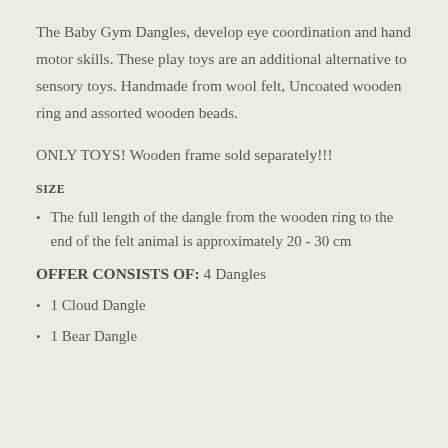The Baby Gym Dangles, develop eye coordination and hand motor skills. These play toys are an additional alternative to sensory toys. Handmade from wool felt, Uncoated wooden ring and assorted wooden beads.
ONLY TOYS! Wooden frame sold separately!!!
SIZE
The full length of the dangle from the wooden ring to the end of the felt animal is approximately 20 - 30 cm
OFFER CONSISTS OF: 4 Dangles
1 Cloud Dangle
1 Bear Dangle